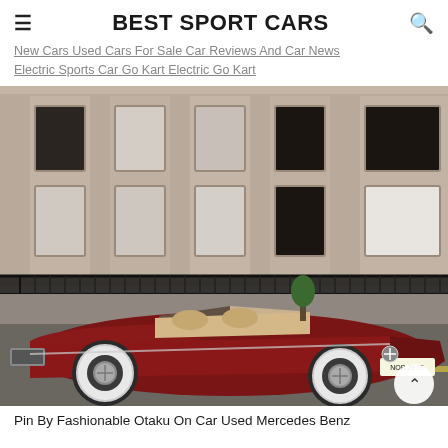≡  BEST SPORT CARS  🔍
New Cars Used Cars For Sale Car Reviews And Car News Electric Sports Car Go Kart Electric Go Kart
[Figure (photo): A classic dark red Mercedes-Benz convertible (roadster) parked on a city street in front of a Georgian stone building with black iron railings. The car has white-wall tires and a tan interior. License plate reads NOB 297E.]
Pin By Fashionable Otaku On Car Used Mercedes Benz